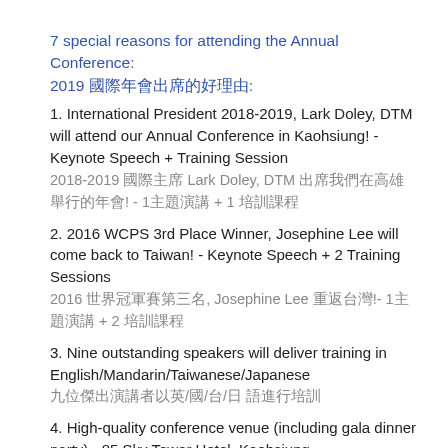7 special reasons for attending the Annual Conference:
2019 國際年會出席的好理由:
1. International President 2018-2019, Lark Doley, DTM will attend our Annual Conference in Kaohsiung! - Keynote Speech + Training Session
2018-2019 國際主席 Lark Doley, DTM 出席我們在高雄舉行的年會! - 1主題演講 + 1 培訓課程
2. 2016 WCPS 3rd Place Winner, Josephine Lee will come back to Taiwan! - Keynote Speech + 2 Training Sessions
2016 世界冠軍賽第三名, Josephine Lee 重返台灣!- 1主題演講 + 2 培訓課程
3. Nine outstanding speakers will deliver training in English/Mandarin/Taiwanese/Japanese
九位傑出演講者以英/國/台/日 語進行培訓
4. High-quality conference venue (including gala dinner party) - 85 Sky Tower Hotel, Kaohsiung
高品質的會議場地 (含晚宴派對) - 高雄85樓 天空塔